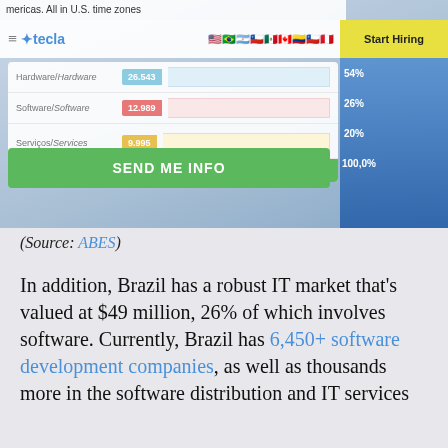[Figure (screenshot): Screenshot of Tecla website showing a data table with Brazilian IT market data: Hardware/Hardware 26,543 (54%), Software/Software 12,989 (26%), Serviços/Services 9,995 (20%), Total/Total 49,527 (100.0%). Features a hamburger menu, Tecla logo with country flags, Start Hiring button, and Send Me Info CTA button on a blue/white background.]
(Source: ABES)
In addition, Brazil has a robust IT market that's valued at $49 million, 26% of which involves software. Currently, Brazil has 6,450+ software development companies, as well as thousands more in the software distribution and IT services